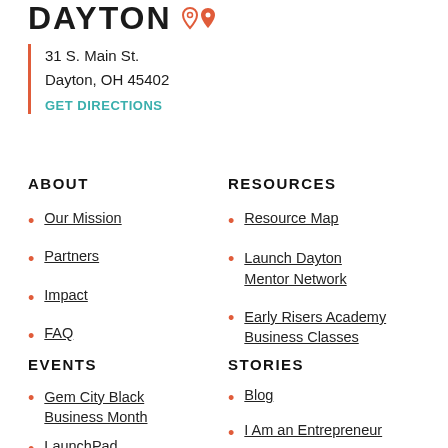DAYTON
31 S. Main St.
Dayton, OH 45402
GET DIRECTIONS
ABOUT
RESOURCES
Our Mission
Partners
Impact
FAQ
Resource Map
Launch Dayton Mentor Network
Early Risers Academy Business Classes
EVENTS
STORIES
Gem City Black Business Month
LaunchPad
Blog
I Am an Entrepreneur